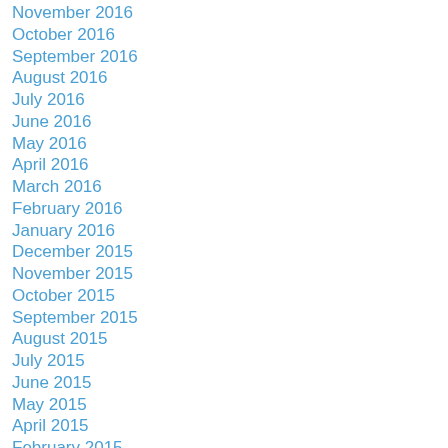November 2016
October 2016
September 2016
August 2016
July 2016
June 2016
May 2016
April 2016
March 2016
February 2016
January 2016
December 2015
November 2015
October 2015
September 2015
August 2015
July 2015
June 2015
May 2015
April 2015
February 2015